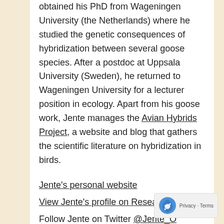obtained his PhD from Wageningen University (the Netherlands) where he studied the genetic consequences of hybridization between several goose species. After a postdoc at Uppsala University (Sweden), he returned to Wageningen University for a lecturer position in ecology. Apart from his goose work, Jente manages the Avian Hybrids Project, a website and blog that gathers the scientific literature on hybridization in birds.
Jente's personal website
View Jente's profile on ResearchGate
Follow Jente on Twitter @Jente_O